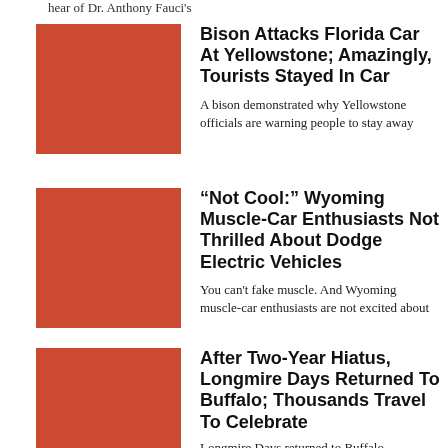hear of Dr. Anthony Fauci's
[Figure (photo): Red/terracotta colored square thumbnail image for Bison article]
Bison Attacks Florida Car At Yellowstone; Amazingly, Tourists Stayed In Car
A bison demonstrated why Yellowstone officials are warning people to stay away
[Figure (photo): Red/terracotta colored square thumbnail image for Wyoming article]
“Not Cool:” Wyoming Muscle-Car Enthusiasts Not Thrilled About Dodge Electric Vehicles
You can't fake muscle. And Wyoming muscle-car enthusiasts are not excited about
[Figure (photo): Red/terracotta colored square thumbnail image for Longmire article]
After Two-Year Hiatus, Longmire Days Returned To Buffalo; Thousands Travel To Celebrate
Longmire Days returned to Buffalo, Wyoming this past weekend and thousands of